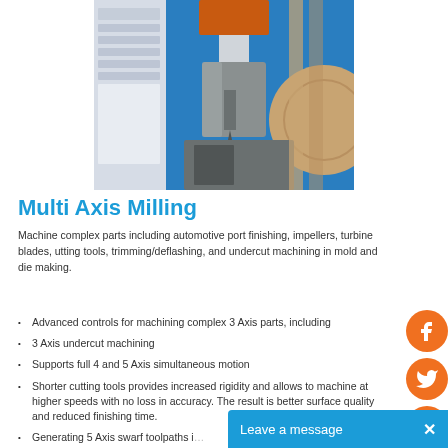[Figure (screenshot): Screenshot of multi-axis milling CAD/CAM software showing a milling machine head cutting a workpiece, with a blue software interface panel visible on the left.]
Multi Axis Milling
Machine complex parts including automotive port finishing, impellers, turbine blades, utting tools, trimming/deflashing, and undercut machining in mold and die making.
Advanced controls for machining complex 3 Axis parts, including
3 Axis undercut machining
Supports full 4 and 5 Axis simultaneous motion
Shorter cutting tools provides increased rigidity and allows to machine at higher speeds with no loss in accuracy. The result is better surface quality and reduced finishing time.
Generating 5 Axis swarf toolpaths i…